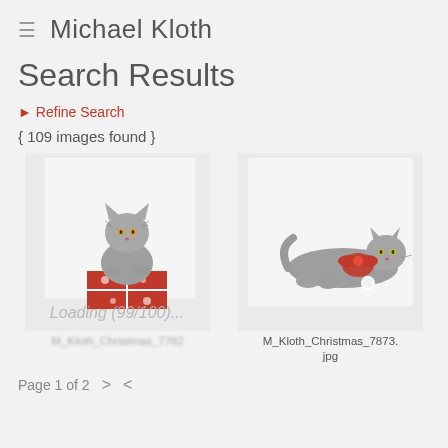≡  Michael Kloth
Search Results
▶ Refine Search
{ 109 images found }
[Figure (photo): Gray fluffy cat sitting on a red Christmas gift box, white background. Loading (99/100)... overlay text visible.]
[Figure (photo): Gray kitten lying down wearing a red bow/outfit, white background. Caption: M_Kloth_Christmas_7873.jpg]
M_Kloth_Christmas_7873.jpg
Page 1 of 2  >  <